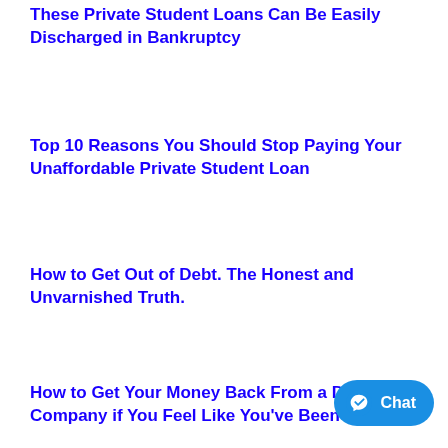These Private Student Loans Can Be Easily Discharged in Bankruptcy
Top 10 Reasons You Should Stop Paying Your Unaffordable Private Student Loan
How to Get Out of Debt. The Honest and Unvarnished Truth.
How to Get Your Money Back From a Debt Company if You Feel Like You've Been Scammed